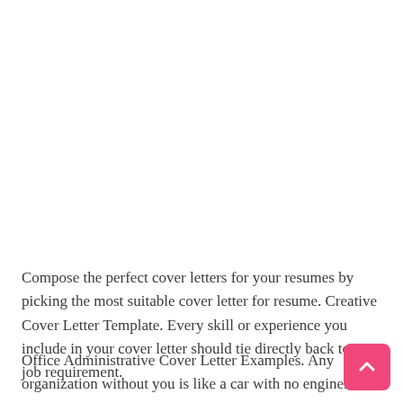Compose the perfect cover letters for your resumes by picking the most suitable cover letter for resume. Creative Cover Letter Template. Every skill or experience you include in your cover letter should tie directly back to a job requirement.
Office Administrative Cover Letter Examples. Any organization without you is like a car with no engine. Cover